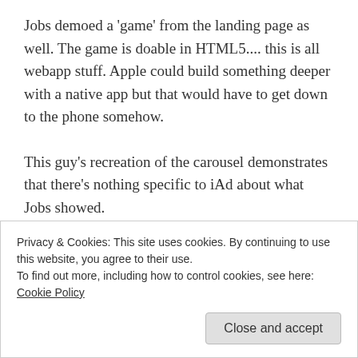Jobs demoed a 'game' from the landing page as well. The game is doable in HTML5.... this is all webapp stuff. Apple could build something deeper with a native app but that would have to get down to the phone somehow.
This guy's recreation of the carousel demonstrates that there's nothing specific to iAd about what Jobs showed.
He includes code snippets which is sorta cool. Plus
Privacy & Cookies: This site uses cookies. By continuing to use this website, you agree to their use.
To find out more, including how to control cookies, see here: Cookie Policy
Close and accept